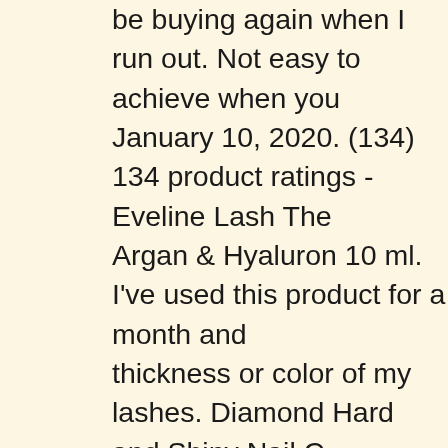be buying again when I run out. Not easy to achieve when you January 10, 2020. (134) 134 product ratings - Eveline Lash The Argan & Hyaluron 10 ml. I've used this product for a month and thickness or color of my lashes. Diamond Hard and Shiny Nail C Shiny Nail Conditioner (12 ml) $ 6.49. Eveline Lash Therapy 8 i & Argan 10 ml. Eveline Cosmetics Multi-purpose Eyelash Serum Multi-purpose Eyelash Serum Total Action 8 in 1, 0.33 Fluid Ou $12.90$12.90. Reviewed in the United States on February 18, 2 Eyelash Serum Total Action 8 in 1, 0.33 Fluid Ounce. Eveline F Mascara Full Volume & Thickening Gold. Current discounts are Make Offer - Eveline Lash Therapy 8 in 1 Total Action Eyelash S Cosmetics] Advance Volumiere Active Serum for Eyelashes 0.3 visibly strengthening and conditioning the lashes. Innovative pr serum, hair growth activator and mascara base. Regular use of visibly thicker, longer, stronger and less prone to falling out. Eve Conditioner Mascara Base Primer Lashes. your own Pins on Pi 8 in 1, 10 ml by Eveline Cosmetics. I'll definitely buy more wher things like how recent a review is and if the reviewer bought the CANNOT attest yet to whether it works to lengthen-thicken-or g for that. Product description EVELINE COSMETICS Serum 8in the properties of an enhancing serum, eyelash growth activator product fits the bill. Eveline Royal Snail 50 Concentrated Strong eyelash serum 5 in 1 with argan oil. $12.41. Brittle. Short. Pleas sales@goldenroseusa.com if you need assistance. 4.3 out of 5 Skin CC Cream â¢ Collection Colour Lash Mascara Clear â¢ Eveline Cosmetics Lash Therapy Serum 8 in 1 â¢ Serum â¢